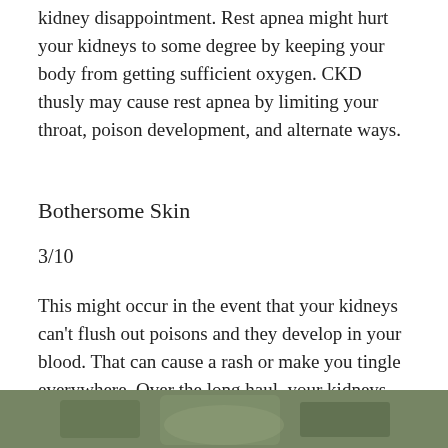kidney disappointment. Rest apnea might hurt your kidneys to some degree by keeping your body from getting sufficient oxygen. CKD thusly may cause rest apnea by limiting your throat, poison development, and alternate ways.
Bothersome Skin
3/10
This might occur in the event that your kidneys can't flush out poisons and they develop in your blood. That can cause a rash or make you tingle everywhere. Over the long haul, your kidneys will most likely be unable to adjust the minerals and supplements in your body. This can prompt mineral and bone sickness, which can make your skin dry and bothersome.
[Figure (photo): Partial photo visible at bottom of page, appears to show a natural/outdoor scene with greenish-brown tones]